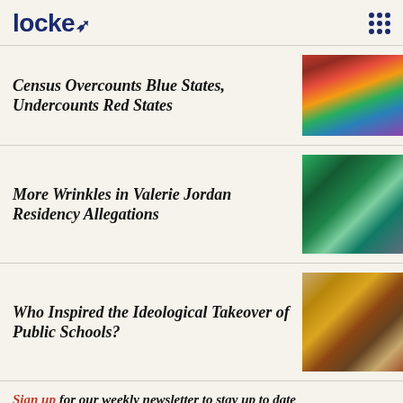locke
Census Overcounts Blue States, Undercounts Red States
[Figure (photo): Aerial crowd shot showing many people densely packed together, colorful crowd from overhead view]
More Wrinkles in Valerie Jordan Residency Allegations
[Figure (photo): Aerial satellite view of a rural property with buildings and trees surrounded by green fields]
Who Inspired the Ideological Takeover of Public Schools?
[Figure (photo): Hammer and sickle symbol placed on a wooden surface, communist iconography]
Sign up for our weekly newsletter to stay up to date